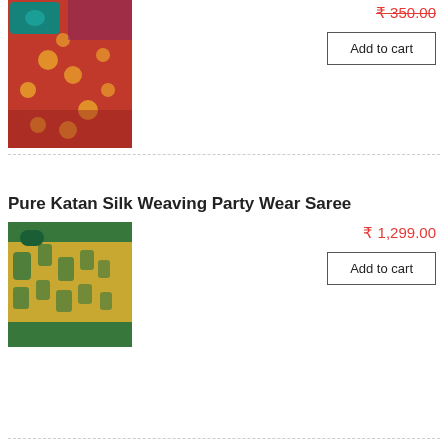[Figure (photo): Red silk saree with golden embroidery and teal blouse piece]
₹ 350.00
Add to cart
Pure Katan Silk Weaving Party Wear Saree
[Figure (photo): Golden yellow and green Katan silk weaving saree with teal blouse piece]
₹ 1,299.00
Add to cart